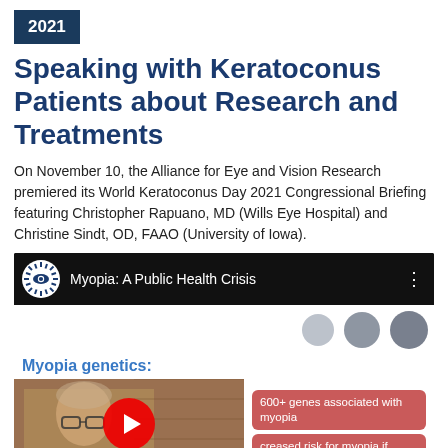2021
Speaking with Keratoconus Patients about Research and Treatments
On November 10, the Alliance for Eye and Vision Research premiered its World Keratoconus Day 2021 Congressional Briefing featuring Christopher Rapuano, MD (Wills Eye Hospital) and Christine Sindt, OD, FAAO (University of Iowa).
[Figure (screenshot): YouTube video thumbnail showing 'Myopia: A Public Health Crisis' with AEVR logo, and below a slide showing 'Myopia genetics:' with a photo of a presenter and bullet points about 600+ genes associated with myopia and increased risk for myopia if...]